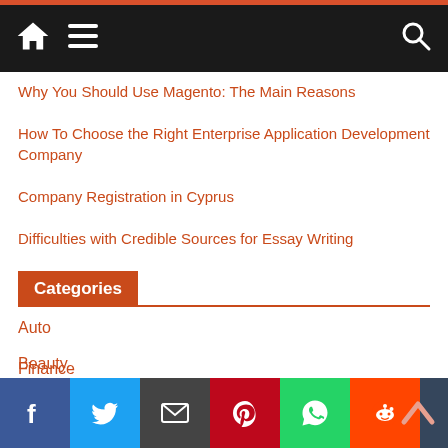Navigation bar with home, menu, and search icons
Why You Should Use Magento: The Main Reasons
How To Choose the Right Enterprise Application Development Company
Company Registration in Cyprus
Difficulties with Credible Sources for Essay Writing
Categories
Auto
Beauty
Business
Education
Fashion
Finance
[Figure (other): Social sharing bar with Facebook, Twitter, Email, Pinterest, WhatsApp, Reddit, Tumblr, and More buttons]